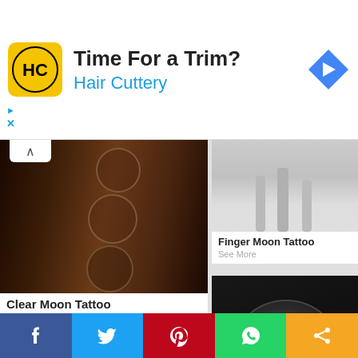[Figure (screenshot): Advertisement banner for Hair Cuttery with yellow logo, 'Time For a Trim?' headline, and blue arrow icon]
[Figure (photo): Photo of arm with moon phases tattoo - multiple circular moon phase designs in a vertical row]
Clear Moon Tattoo
See More
[Figure (photo): Black and white close-up photo of finger with moon tattoo]
Finger Moon Tattoo
See More
[Figure (photo): Photo of small crescent and moon phases tattoo on body]
[Figure (photo): Photo of detailed full moon tattoo with botanical/floral elements on arm]
[Figure (screenshot): Social sharing bar with Facebook, Twitter, Pinterest, WhatsApp, and share buttons]